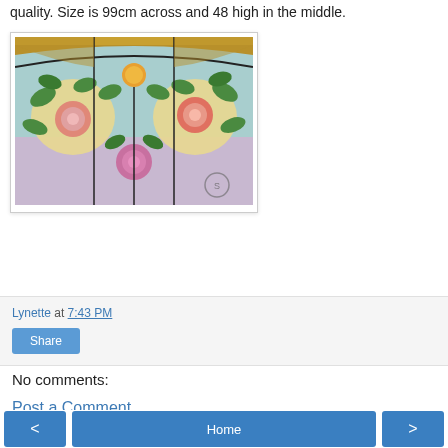quality. Size is 99cm across and 48 high in the middle.
[Figure (photo): A stained glass panel featuring roses and floral vines with green leaves on a teal/aqua background, framed with gold/brass trim at the top. The panel has a curved top edge.]
Lynette at 7:43 PM
Share
No comments:
Post a Comment
< Home >